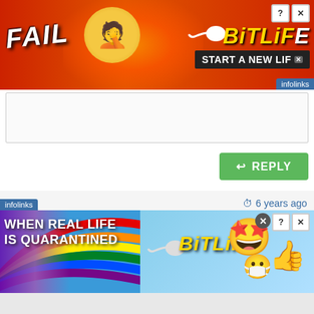[Figure (infographic): BitLife game advertisement banner with 'FAIL' text, anime girl facepalm emoji, flame graphics, BitLife logo with sperm icon, and 'START A NEW LIFE' button on red background. infolinks label bottom right.]
[Figure (screenshot): Empty text input box for forum reply]
[Figure (screenshot): Green REPLY button with back arrow icon]
6 years ago
AlexPouw
Login: 6 years ago
Posts: 3
[Figure (infographic): BitLife game advertisement banner with rainbow, 'WHEN REAL LIFE IS QUARANTINED' text, sperm icon, BitLife logo in yellow italic, and emoji characters on blue sky background. infolinks label bottom left.]